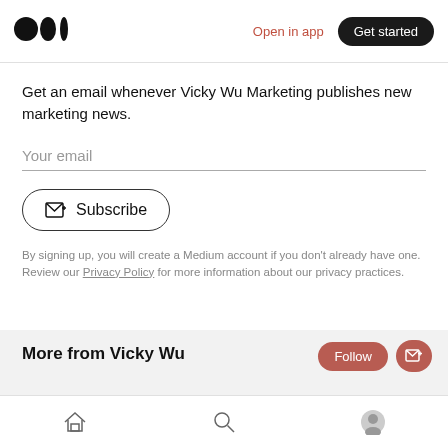Medium logo | Open in app | Get started
Get an email whenever Vicky Wu Marketing publishes new marketing news.
Your email
Subscribe
By signing up, you will create a Medium account if you don't already have one. Review our Privacy Policy for more information about our privacy practices.
More from Vicky Wu
Home | Search | Profile